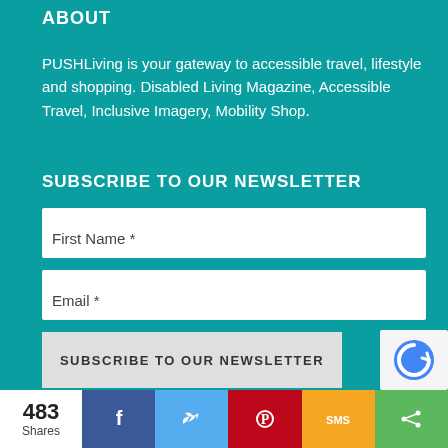ABOUT
PUSHLiving is your gateway to accessible travel, lifestyle and shopping. Disabled Living Magazine, Accessible Travel, Inclusive Imagery, Mobility Shop.
SUBSCRIBE TO OUR NEWSLETTER
First Name *
Email *
SUBSCRIBE TO OUR NEWSLETTER
[Figure (other): reCAPTCHA widget partial]
483 Shares